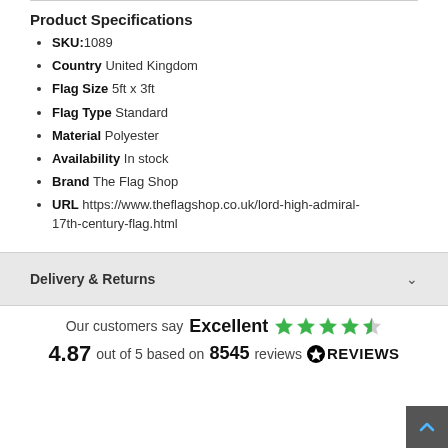Product Specifications
SKU: 1089
Country United Kingdom
Flag Size 5ft x 3ft
Flag Type Standard
Material Polyester
Availability In stock
Brand The Flag Shop
URL https://www.theflagshop.co.uk/lord-high-admiral-17th-century-flag.html
Delivery & Returns
Our customers say Excellent 4.87 out of 5 based on 8545 reviews REVIEWS